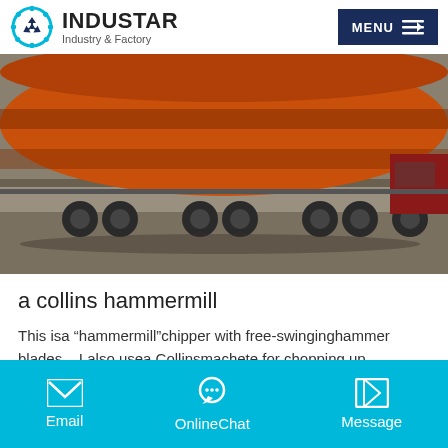INDUSTAR Industry & Factory | MENU
[Figure (photo): Large orange cylindrical industrial drum/kiln loaded on a flatbed truck, photographed outdoors on a paved surface]
a collins hammermill
This isa “hammermill”chipper with free-swinginghammer blades... I also usea Collinsmachete for chopping up branches for easy feeding and of course ... Separation of joined plastic and metal components - Aluminum ...
Email   OnlineChat   Message